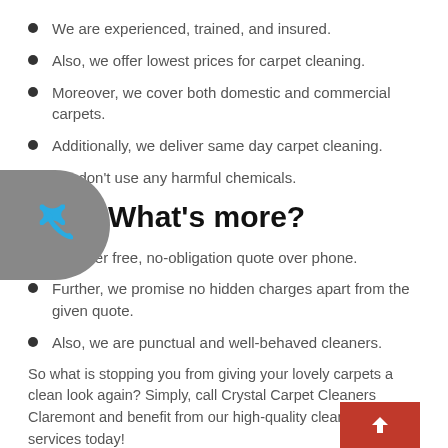We are experienced, trained, and insured.
Also, we offer lowest prices for carpet cleaning.
Moreover, we cover both domestic and commercial carpets.
Additionally, we deliver same day carpet cleaning.
We don't use any harmful chemicals.
What's more?
We offer free, no-obligation quote over phone.
Further, we promise no hidden charges apart from the given quote.
Also, we are punctual and well-behaved cleaners.
So what is stopping you from giving your lovely carpets a clean look again? Simply, call Crystal Carpet Cleaners Claremont and benefit from our high-quality cleaning services today!